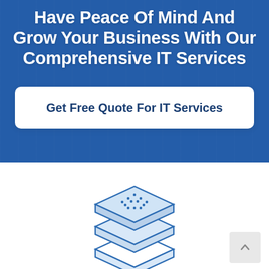Have Peace Of Mind And Grow Your Business With Our Comprehensive IT Services
Get Free Quote For IT Services
[Figure (illustration): Stacked layers icon representing IT services or data layers, in blue outline style with dotted pattern on top layer]